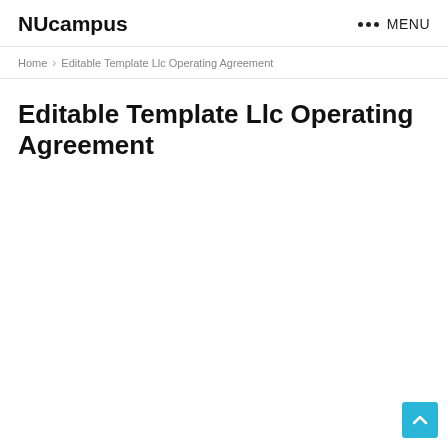NUcampus   ••• MENU
Home > Editable Template Llc Operating Agreement
Editable Template Llc Operating Agreement